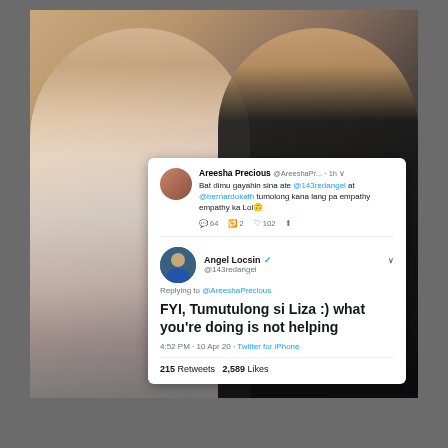[Figure (photo): Photo of two women smiling together at a formal event, overlaid with a screenshot of a Twitter conversation. The first tweet is from Areesha Precious (@AreeshaPr...) saying 'Bat dimu gayahin sina ate @143redangel at @bernardokath tumolong kana lang pa empathy empathy ka Lol' with 64 comments, 2 retweets, 102 likes. The reply is from Angel Locsin (@143redangel) saying 'FYI, Tumutulong si Liza :) what you're doing is not helping' posted at 4:52 PM · 10 Apr 20 · Twitter for iPhone, with 215 Retweets and 2,589 Likes.]